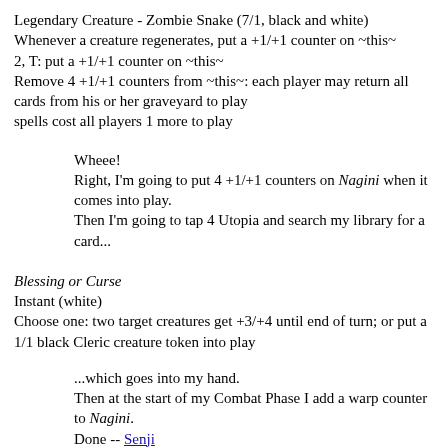Legendary Creature - Zombie Snake (7/1, black and white)
Whenever a creature regenerates, put a +1/+1 counter on ~this~
2, T: put a +1/+1 counter on ~this~
Remove 4 +1/+1 counters from ~this~: each player may return all cards from his or her graveyard to play
spells cost all players 1 more to play
Wheee!
Right, I'm going to put 4 +1/+1 counters on Nagini when it comes into play.
Then I'm going to tap 4 Utopia and search my library for a card...
Blessing or Curse
Instant (white)
Choose one: two target creatures get +3/+4 until end of turn; or put a 1/1 black Cleric creature token into play
...which goes into my hand.
Then at the start of my Combat Phase I add a warp counter to Nagini.
Done -- Senji